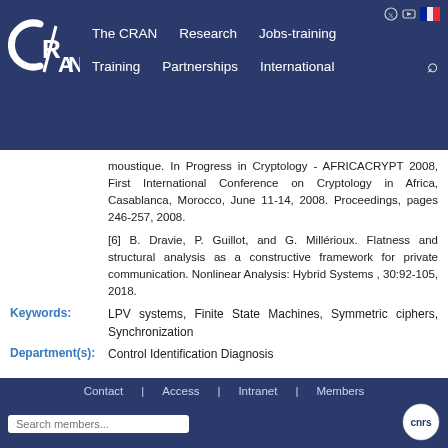The CRAN | Research | Jobs-training | Training | Partnerships | International
moustique. In Progress in Cryptology - AFRICACRYPT 2008, First International Conference on Cryptology in Africa, Casablanca, Morocco, June 11-14, 2008. Proceedings, pages 246-257, 2008.
[6] B. Dravie, P. Guillot, and G. Millérioux. Flatness and structural analysis as a constructive framework for private communication. Nonlinear Analysis: Hybrid Systems , 30:92-105, 2018.
Keywords: LPV systems, Finite State Machines, Symmetric ciphers, Synchronization
Department(s): Control Identification Diagnosis
Contact | Access | Intranet | Members | Search members...